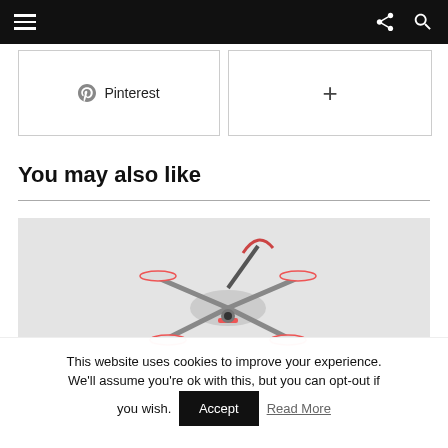Navigation bar with hamburger menu, share icon, and search icon
[Figure (other): Pinterest share button with Pinterest icon]
[Figure (other): Plus/more share button]
You may also like
[Figure (photo): Photograph of a drone or multirotor device with orange and dark parts on a light gray background]
This website uses cookies to improve your experience. We'll assume you're ok with this, but you can opt-out if you wish.
Accept
Read More